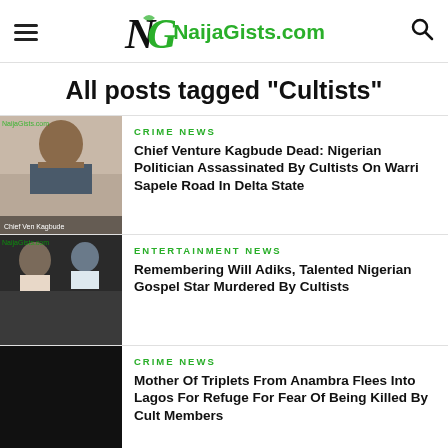NaijaGists.com
All posts tagged "Cultists"
CRIME NEWS
Chief Venture Kagbude Dead: Nigerian Politician Assassinated By Cultists On Warri Sapele Road In Delta State
ENTERTAINMENT NEWS
Remembering Will Adiks, Talented Nigerian Gospel Star Murdered By Cultists
CRIME NEWS
Mother Of Triplets From Anambra Flees Into Lagos For Refuge For Fear Of Being Killed By Cult Members
CRIME NEWS